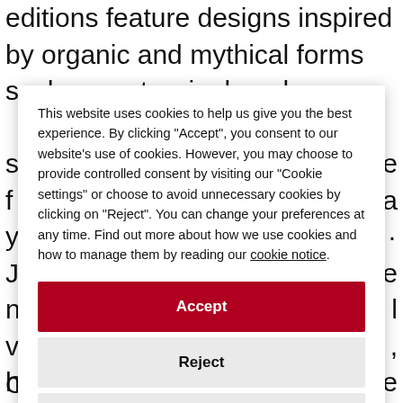editions feature designs inspired by organic and mythical forms such as water ripples, dragon
This website uses cookies to help us give you the best experience. By clicking "Accept", you consent to our website's use of cookies. However, you may choose to provide controlled consent by visiting our "Cookie settings" or choose to avoid unnecessary cookies by clicking on "Reject". You can change your preferences at any time. Find out more about how we use cookies and how to manage them by reading our cookie notice.
Accept
Reject
Cookie settings
Corneille van Clève